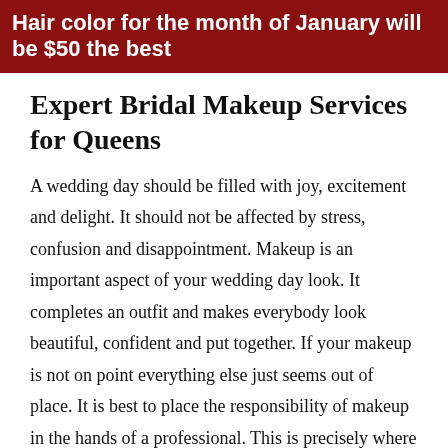Hair color for the month of January will be $50 the best
Expert Bridal Makeup Services for Queens
A wedding day should be filled with joy, excitement and delight. It should not be affected by stress, confusion and disappointment. Makeup is an important aspect of your wedding day look. It completes an outfit and makes everybody look beautiful, confident and put together. If your makeup is not on point everything else just seems out of place. It is best to place the responsibility of makeup in the hands of a professional. This is precisely where we come in. At H3 Hair Salon, we provide portable, expert makeup services. We can service an entire bridal party out of the comfort of your hotel or dressing room. We can